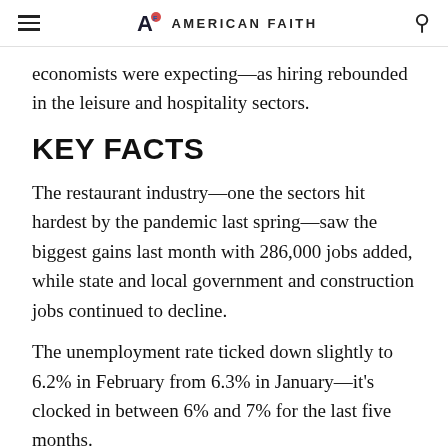AMERICAN FAITH
economists were expecting—as hiring rebounded in the leisure and hospitality sectors.
KEY FACTS
The restaurant industry—one the sectors hit hardest by the pandemic last spring—saw the biggest gains last month with 286,000 jobs added, while state and local government and construction jobs continued to decline.
The unemployment rate ticked down slightly to 6.2% in February from 6.3% in January—it's clocked in between 6% and 7% for the last five months.
Experts including Federal Reserve chairman Jerome